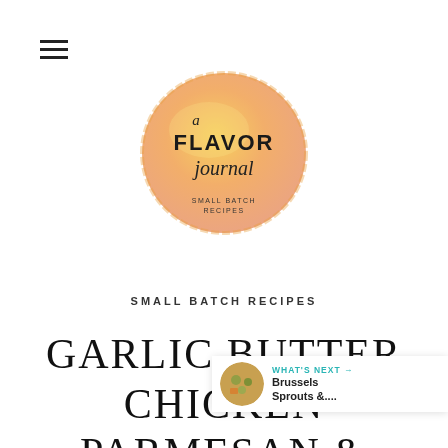[Figure (logo): A Flavor Journal logo — circular golden/orange brush stroke with text 'a FLAVOR journal SMALL BATCH RECIPES' inside]
SMALL BATCH RECIPES
GARLIC BUTTER CHICKEN PARMESAN & BRUSSELS SPROUTS ORZO WITH KINDER'S® MASTER SALT
[Figure (infographic): Heart favorite button (teal circle with white heart icon), count '2', share button, and 'WHAT'S NEXT → Brussels Sprouts &....' panel with thumbnail]